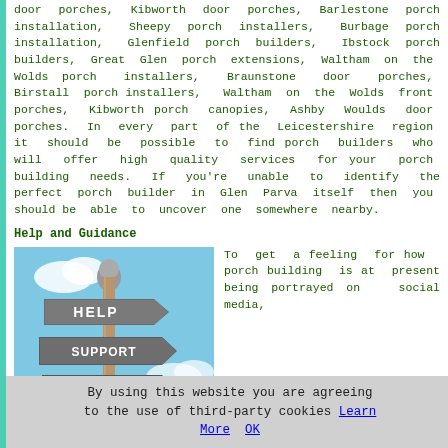door porches, Kibworth door porches, Barlestone porch installation, Sheepy porch installers, Burbage porch installation, Glenfield porch builders, Ibstock porch builders, Great Glen porch extensions, Waltham on the Wolds porch installers, Braunstone door porches, Birstall porch installers, Waltham on the Wolds front porches, Kibworth porch canopies, Ashby Woulds door porches. In every part of the Leicestershire region it should be possible to find porch builders who will offer high quality services for your porch building needs. If you're unable to identify the perfect porch builder in Glen Parva itself then you should be able to uncover one somewhere nearby.
Help and Guidance
[Figure (photo): Photo of a wooden signpost with three arrow signs reading HELP, SUPPORT, and ADVICE against a blue sky background]
To get a feeling for how porch building is at present being portrayed on social media,
By using this website you are agreeing to the use of third-party cookies Learn More OK